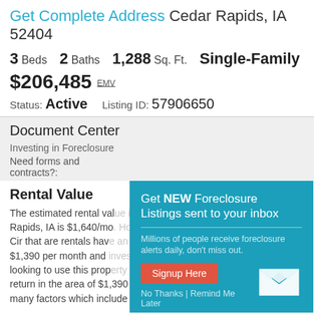Get Complete Address Cedar Rapids, IA 52404
3 Beds  2 Baths  1,288 Sq. Ft.  Single-Family
$206,485 EMV
Status: Active   Listing ID: 57906650
Document Center
Investing in Foreclosure
Need forms and contracts?:
[Figure (infographic): Popup overlay: Get NEW Foreclosure Listings sent to your inbox. Millions of people receive foreclosure alerts daily, don't miss out. Signup Here button. No Thanks | Remind Me Later links. Mail envelope icon.]
Rental Value
The estimated rental value in Cedar Rapids, IA is $1,640/mo. Homes on Cir that are rentals have an average of $1,390 per month and investors looking to use this property as an investment could bring a return in the area of $1,390 - $1,890 a month based on the many factors which include the properties condition, type,